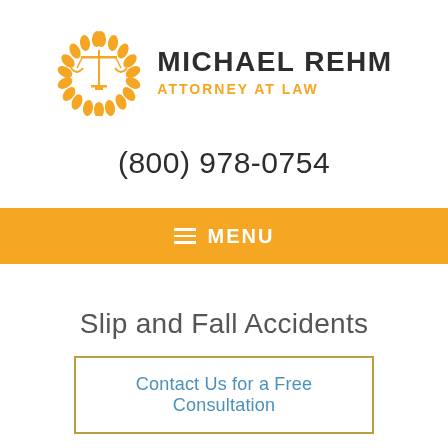[Figure (logo): Michael Rehm Attorney at Law logo with scales of justice in an orange laurel wreath circle, and firm name text]
(800) 978-0754
≡ MENU
Slip and Fall Accidents
Contact Us for a Free Consultation